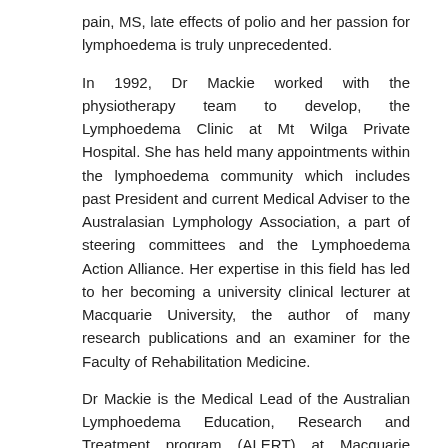pain, MS, late effects of polio and her passion for lymphoedema is truly unprecedented.
In 1992, Dr Mackie worked with the physiotherapy team to develop, the Lymphoedema Clinic at Mt Wilga Private Hospital. She has held many appointments within the lymphoedema community which includes past President and current Medical Adviser to the Australasian Lymphology Association, a part of steering committees and the Lymphoedema Action Alliance. Her expertise in this field has led to her becoming a university clinical lecturer at Macquarie University, the author of many research publications and an examiner for the Faculty of Rehabilitation Medicine.
Dr Mackie is the Medical Lead of the Australian Lymphoedema Education, Research and Treatment program (ALERT) at Macquarie University. She was also involved in the 2020 acknowledgement of Mt Wilga Private Hospital's Lymphoedema Clinic as a Conservative Care Centre of Excellence by the International Lymphatic Education and Research Network (LE&RN).
Mt Wilga Private Hospital's Lymphoedema Clinic has been treating hundreds of patients annually who range from the most severe and complex cases of lymphoedema, post-surgical liposuction patients and early intervention cases for more than 30 years under